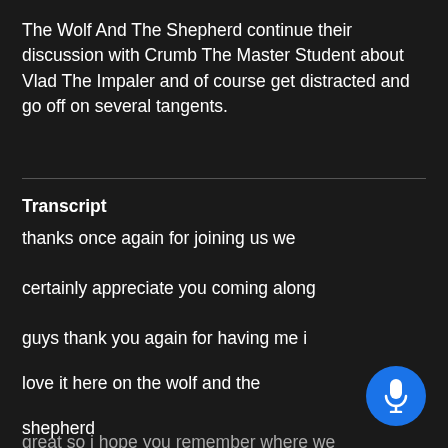The Wolf And The Shepherd continue their discussion with Crumb The Master Student about Vlad The Impaler and of course get distracted and go off on several tangents.
Transcript
thanks once again for joining us we
certainly appreciate you coming along
guys thank you again for having me i
love it here on the wolf and the
shepherd
great so i hope you remember where we